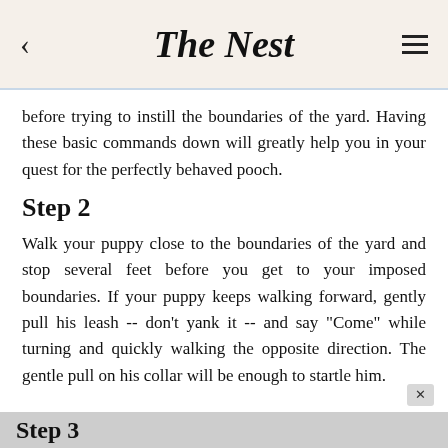The Nest
before trying to instill the boundaries of the yard. Having these basic commands down will greatly help you in your quest for the perfectly behaved pooch.
Step 2
Walk your puppy close to the boundaries of the yard and stop several feet before you get to your imposed boundaries. If your puppy keeps walking forward, gently pull his leash -- don't yank it -- and say "Come" while turning and quickly walking the opposite direction. The gentle pull on his collar will be enough to startle him.
Step 3